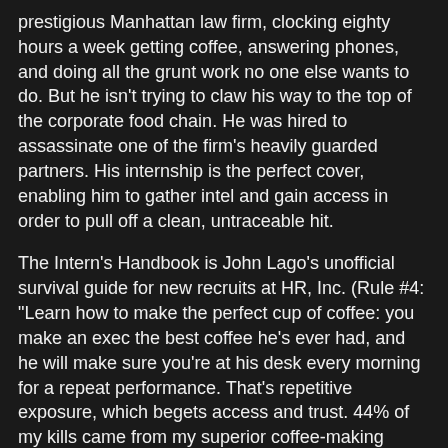prestigious Manhattan law firm, clocking eighty hours a week getting coffee, answering phones, and doing all the grunt work no one else wants to do. But he isn't trying to claw his way to the top of the corporate food chain. He was hired to assassinate one of the firm's heavily guarded partners. His internship is the perfect cover, enabling him to gather intel and gain access in order to pull off a clean, untraceable hit.
The Intern's Handbook is John Lago's unofficial survival guide for new recruits at HR, Inc. (Rule #4: "Learn how to make the perfect cup of coffee: you make an exec the best coffee he's ever had, and he will make sure you're at his desk every morning for a repeat performance. That's repetitive exposure, which begets access and trust. 44% of my kills came from my superior coffee-making abilities.")
Part confessional, part how-to, the handbook chronicles John's final assignment, a twisted thrill ride in which he is pitted against the toughest—and sexiest—adversary he's ever faced: Alice, an FBI agent assigned to take down the same law partner he's been assigned to kill.